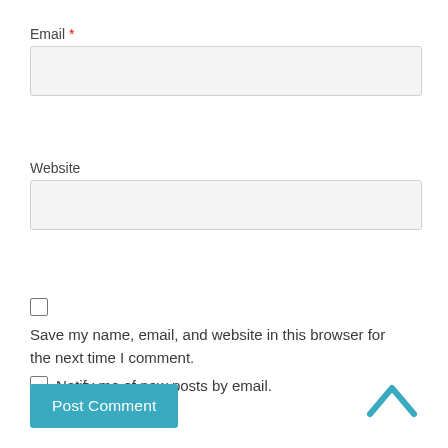Email *
[Figure (screenshot): Empty email input text field with light gray background]
Website
[Figure (screenshot): Empty website input text field with light gray background]
[Figure (screenshot): Unchecked checkbox]
Save my name, email, and website in this browser for the next time I comment.
Notify me of new posts by email.
Post Comment
[Figure (illustration): Blue chevron/caret up arrow icon]